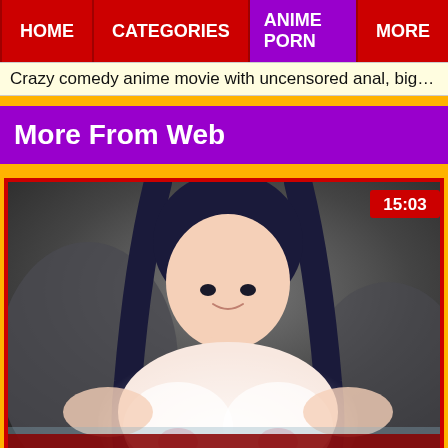HOME | CATEGORIES | ANIME PORN | MORE
Crazy comedy anime movie with uncensored anal, big tits, gro…
More From Web
[Figure (screenshot): Anime character thumbnail with duration badge showing 15:03]